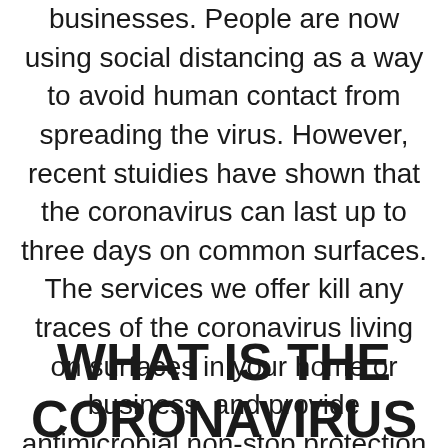businesses. People are now using social distancing as a way to avoid human contact from spreading the virus. However, recent stuidies have shown that the coronavirus can last up to three days on common surfaces. The services we offer kill any traces of the coronavirus living on surfaces in your home or business, and provide antimicrobial non-stop protection for the next few weeks.
WHAT IS THE CORONAVIRUS?